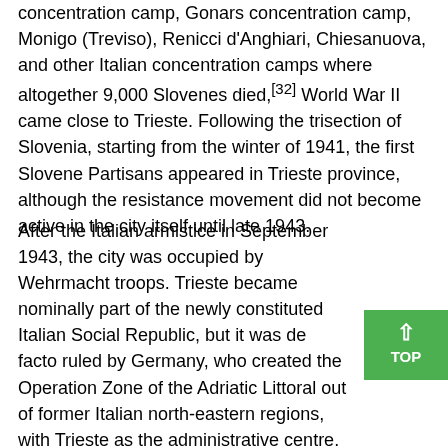concentration camp, Gonars concentration camp, Monigo (Treviso), Renicci d'Anghiari, Chiesanuova, and other Italian concentration camps where altogether 9,000 Slovenes died,[32] World War II came close to Trieste. Following the trisection of Slovenia, starting from the winter of 1941, the first Slovene Partisans appeared in Trieste province, although the resistance movement did not become active in the city itself until late 1943.
After the Italian armistice in September 1943, the city was occupied by Wehrmacht troops. Trieste became nominally part of the newly constituted Italian Social Republic, but it was de facto ruled by Germany, who created the Operation Zone of the Adriatic Littoral out of former Italian north-eastern regions, with Trieste as the administrative centre. The new administrative entity was headed by Friedrich Rainer. Under German occupation, the only concentration camp with a crematorium on Italian soil was built in a suburb of Trieste, at the Risiera di San Sabba on 4 April 1944. From October 20, 1943 to the spring of 1944, around 25,000 Jews and partisans were interrogated and tortured in the Risiera. 3,000–4,000 of them were murdered